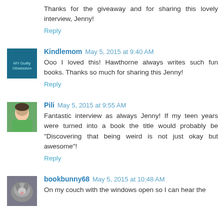Thanks for the giveaway and for sharing this lovely interview, Jenny!
Reply
[Figure (photo): Avatar image for Kindlemom — dark blue book cover thumbnail]
Kindlemom  May 5, 2015 at 9:40 AM
Ooo I loved this! Hawthorne always writes such fun books. Thanks so much for sharing this Jenny!
Reply
[Figure (photo): Avatar photo for Pili — person in green dress]
Pili  May 5, 2015 at 9:55 AM
Fantastic interview as always Jenny! If my teen years were turned into a book the title would probably be "Discovering that being weird is not just okay but awesome"!
Reply
[Figure (photo): Avatar photo for bookbunny68 — rabbit photo]
bookbunny68  May 5, 2015 at 10:48 AM
On my couch with the windows open so I can hear the